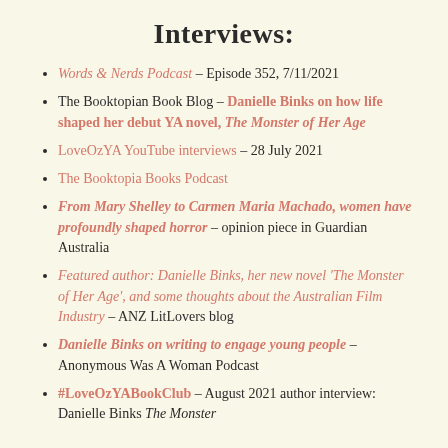Interviews:
Words & Nerds Podcast – Episode 352, 7/11/2021
The Booktopian Book Blog – Danielle Binks on how life shaped her debut YA novel, The Monster of Her Age
LoveOzYA YouTube interviews – 28 July 2021
The Booktopia Books Podcast
From Mary Shelley to Carmen Maria Machado, women have profoundly shaped horror – opinion piece in Guardian Australia
Featured author: Danielle Binks, her new novel 'The Monster of Her Age', and some thoughts about the Australian Film Industry – ANZ LitLovers blog
Danielle Binks on writing to engage young people – Anonymous Was A Woman Podcast
#LoveOzYABookClub – August 2021 author interview: Danielle Binks The Monster